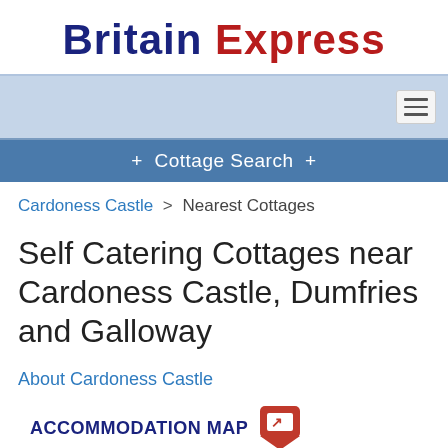Britain Express
[Figure (screenshot): Navigation bar with light blue background and hamburger menu button on the right]
+ Cottage Search +
Cardoness Castle > Nearest Cottages
Self Catering Cottages near Cardoness Castle, Dumfries and Galloway
About Cardoness Castle
ACCOMMODATION MAP
Nearest Hotels - Nearest Bed and Breakfast